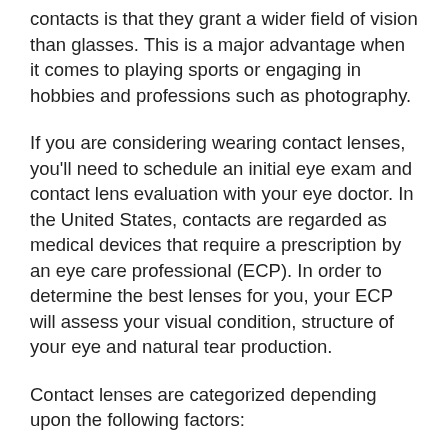contacts is that they grant a wider field of vision than glasses. This is a major advantage when it comes to playing sports or engaging in hobbies and professions such as photography.
If you are considering wearing contact lenses, you'll need to schedule an initial eye exam and contact lens evaluation with your eye doctor. In the United States, contacts are regarded as medical devices that require a prescription by an eye care professional (ECP). In order to determine the best lenses for you, your ECP will assess your visual condition, structure of your eye and natural tear production.
Contact lenses are categorized depending upon the following factors:
Material composition
How long they can be worn before you have to take